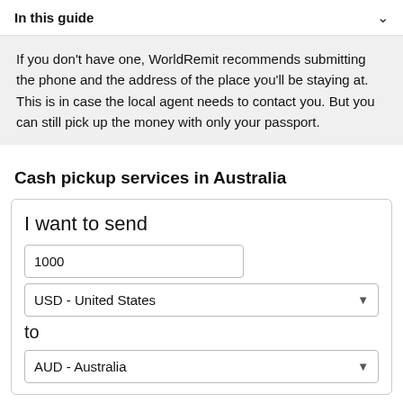In this guide
If you don't have one, WorldRemit recommends submitting the phone and the address of the place you'll be staying at. This is in case the local agent needs to contact you. But you can still pick up the money with only your passport.
Cash pickup services in Australia
I want to send
1000
USD - United States
to
AUD - Australia